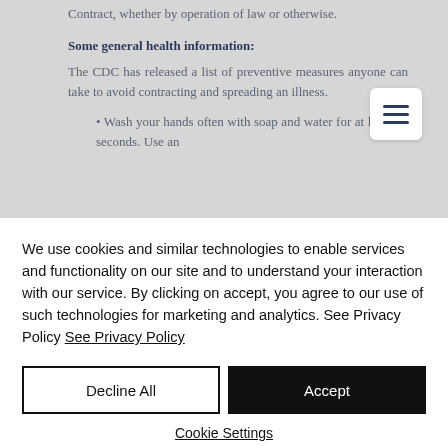Contract, whether by operation of law or otherwise.
Some general health information:
The CDC has released a list of preventive measures anyone can take to avoid contracting and spreading an illness.
• Wash your hands often with soap and water for at least 20 seconds. Use an
We use cookies and similar technologies to enable services and functionality on our site and to understand your interaction with our service. By clicking on accept, you agree to our use of such technologies for marketing and analytics. See Privacy Policy See Privacy Policy
Decline All
Accept
Cookie Settings